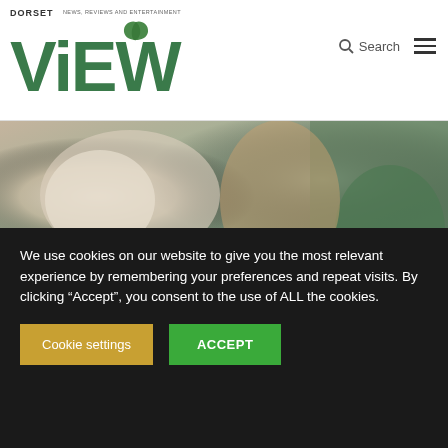DORSET VIEW — NEWS, REVIEWS AND ENTERTAINMENT
[Figure (photo): Close-up photo of a fluffy dog being held or petted by a person wearing a green shirt with a tattoo on their arm]
Life in Lockdown: Matt Brogan, Sydney, Australia
Life in Lockdown · May 14, 2020
Read more ▶
We use cookies on our website to give you the most relevant experience by remembering your preferences and repeat visits. By clicking "Accept", you consent to the use of ALL the cookies.
Cookie settings   ACCEPT